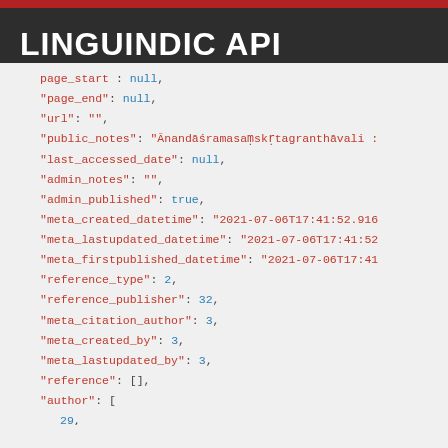LINGUINDIC API
page_start : null,
"page_end": null,
"url": "",
"public_notes": "Ānandāśramasaṃskṛtagranthāvali :
"last_accessed_date": null,
"admin_notes": "",
"admin_published": true,
"meta_created_datetime": "2021-07-06T17:41:52.916
"meta_lastupdated_datetime": "2021-07-06T17:41:52
"meta_firstpublished_datetime": "2021-07-06T17:41
"reference_type": 2,
"reference_publisher": 32,
"meta_citation_author": 3,
"meta_created_by": 3,
"meta_lastupdated_by": 3,
"reference": [],
"author": [
    29,
    22
],
"linguistic_field": [],
"linguistic_notion": [],